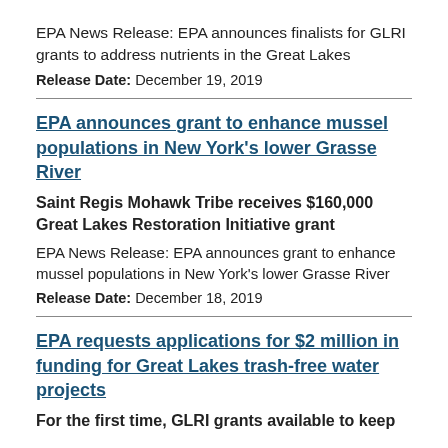EPA News Release: EPA announces finalists for GLRI grants to address nutrients in the Great Lakes
Release Date: December 19, 2019
EPA announces grant to enhance mussel populations in New York's lower Grasse River
Saint Regis Mohawk Tribe receives $160,000 Great Lakes Restoration Initiative grant
EPA News Release: EPA announces grant to enhance mussel populations in New York's lower Grasse River
Release Date: December 18, 2019
EPA requests applications for $2 million in funding for Great Lakes trash-free water projects
For the first time, GLRI grants available to keep